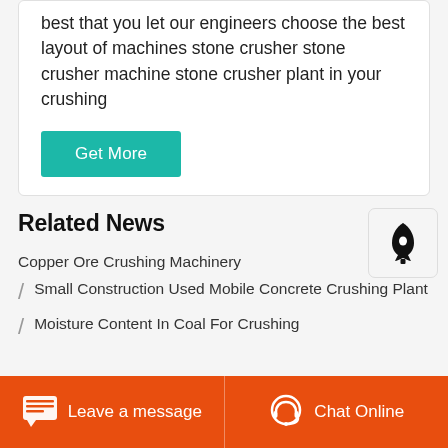best that you let our engineers choose the best layout of machines stone crusher stone crusher machine stone crusher plant in your crushing
Get More
Related News
Copper Ore Crushing Machinery
/ Small Construction Used Mobile Concrete Crushing Plant
/ Moisture Content In Coal For Crushing
Leave a message   Chat Online